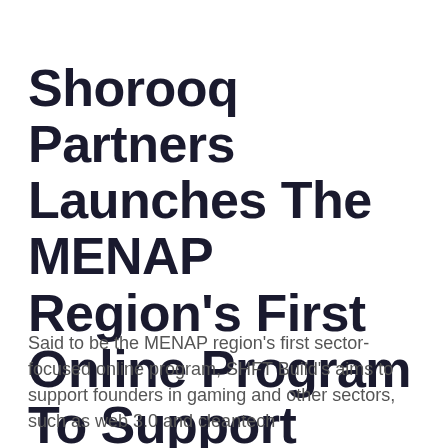Shorooq Partners Launches The MENAP Region's First Online Program To Support Gametech Startup Founders
Said to be the MENAP region's first sector-focused online program, SHFT Build's aims to support founders in gaming and other sectors, such as web 3.0 and cleantech